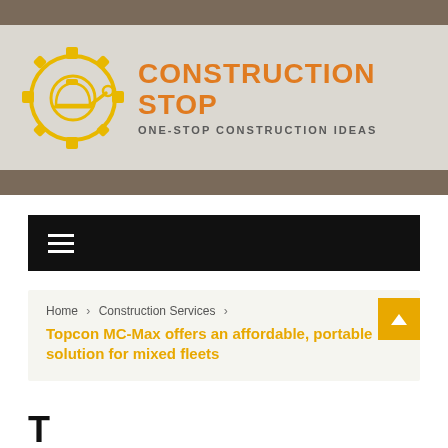[Figure (logo): Construction Stop logo with gear/hard-hat icon in yellow, orange text 'CONSTRUCTION STOP', subtitle 'ONE-STOP CONSTRUCTION IDEAS' on semi-transparent background over construction photo]
CONSTRUCTION STOP — ONE-STOP CONSTRUCTION IDEAS
Home > Construction Services > Topcon MC-Max offers an affordable, portable solution for mixed fleets
Topcon MC-Max off…